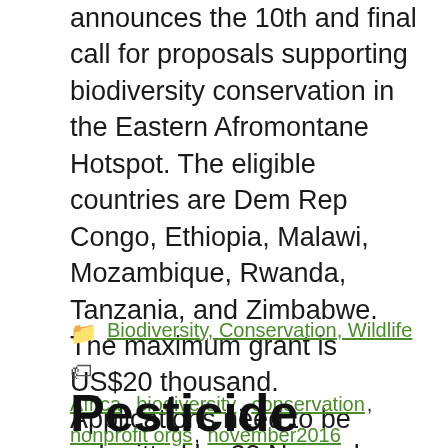announces the 10th and final call for proposals supporting biodiversity conservation in the Eastern Afromontane Hotspot.  The eligible countries are Dem Rep Congo, Ethiopia,  Malawi, Mozambique, Rwanda, Tanzania, and Zimbabwe.  The maximum grant is US$20 thousand. Applications need to be submitted by 23 November 2016.   Link
Categories: Biodiversity, Conservation, Wildlife   Tags: Africa, biodiversity, conservation, nonprofit orgs, november2016
Pesticide Action